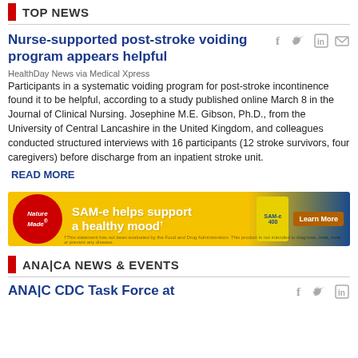TOP NEWS
Nurse-supported post-stroke voiding program appears helpful
HealthDay News via Medical Xpress
Participants in a systematic voiding program for post-stroke incontinence found it to be helpful, according to a study published online March 8 in the Journal of Clinical Nursing. Josephine M.E. Gibson, Ph.D., from the University of Central Lancashire in the United Kingdom, and colleagues conducted structured interviews with 16 participants (12 stroke survivors, four caregivers) before discharge from an inpatient stroke unit.
READ MORE
[Figure (other): Nature Made advertisement banner for SAM-e supplement with text 'SAM-e helps support a healthy mood' and a Learn More button]
ANA|CA NEWS & EVENTS
ANA|C CDC Task Force at